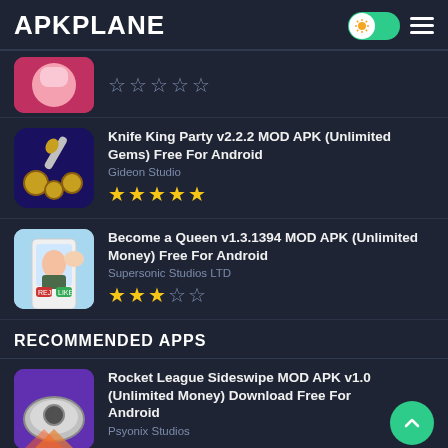APKPLANE
[Figure (screenshot): Partially visible app icon (pink/anime style) with empty star rating row]
Knife King Party v2.2.2 MOD APK (Unlimited Gems) Free For Android — Gideon Studio — 5 stars
Become a Queen v1.3.1394 MOD APK (Unlimited Money) Free For Android — Supersonic Studios LTD — 3.5 stars
RECOMMENDED APPS
Rocket League Sideswipe MOD APK v1.0 (Unlimited Money) Download Free For Android — Psyonix Studios